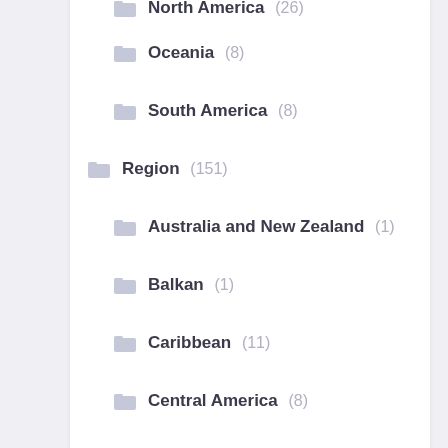North America (26)
Oceania (8)
South America (8)
Region (151)
Australia and New Zealand (1)
Balkan (1)
Caribbean (11)
Central America (8)
Central Asia (5)
Central Europe (1)
East Asia (2)
Eastern Africa (14)
Eastern Asia (3)
Eastern Europe (3)
levent (1)